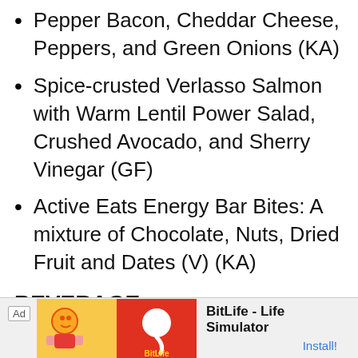Pepper Bacon, Cheddar Cheese, Peppers, and Green Onions (KA)
Spice-crusted Verlasso Salmon with Warm Lentil Power Salad, Crushed Avocado, and Sherry Vinegar (GF)
Active Eats Energy Bar Bites: A mixture of Chocolate, Nuts, Dried Fruit and Dates (V) (KA)
BEVERAGE
M.I.A. Beer Company HRD WTR Pineapple Coconut Hard Sparkling Water, Doral, FL
L'Ecole No. 41 Chenin Blanc Old
[Figure (other): Advertisement banner: BitLife - Life Simulator app ad with Install button]